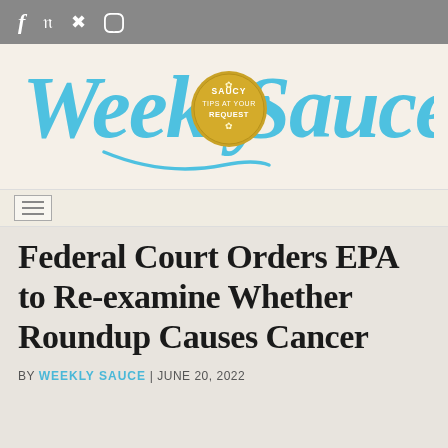f  t  p
[Figure (logo): Weekly Sauce logo in cursive teal/sky-blue script with a golden circular badge reading 'SAUCY TIPS AT YOUR REQUEST']
≡
Federal Court Orders EPA to Re-examine Whether Roundup Causes Cancer
BY WEEKLY SAUCE | JUNE 20, 2022